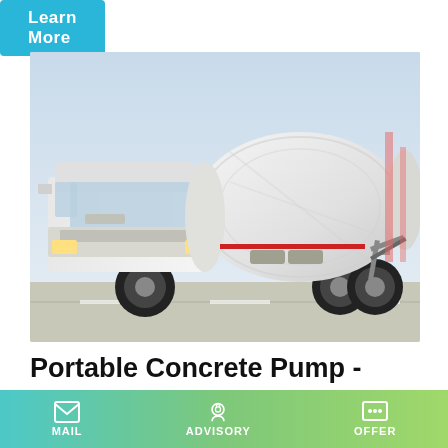Learn More
[Figure (photo): White concrete mixer truck parked in a lot, side view showing the large rotating drum and cab]
Portable Concrete Pump - Easy Movement And Efficient
Features and Advantages. Our portable concrete mixing pump
MAIL   ADVISORY   OFFER